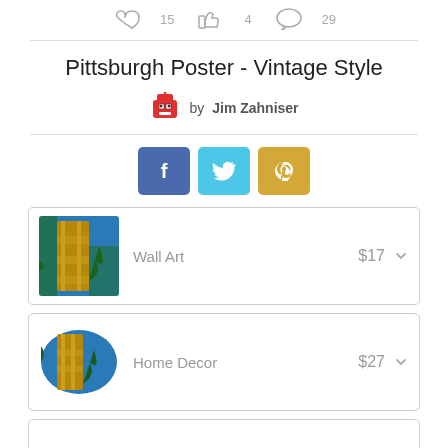[Figure (infographic): Social engagement icons: heart 15, thumbs up 4, comment 29]
Pittsburgh Poster - Vintage Style
by Jim Zahniser
[Figure (infographic): Social share buttons: Facebook (f), Twitter (bird), Pinterest (p)]
[Figure (infographic): Wall Art product thumbnail - Pittsburgh vintage poster on wall art product]
Wall Art  $17
[Figure (infographic): Home Decor product thumbnail - Pittsburgh vintage poster on decorative pillow]
Home Decor  $27
Lifestyle  $26